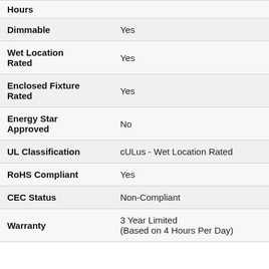| Attribute | Value |
| --- | --- |
| Hours |  |
| Dimmable | Yes |
| Wet Location Rated | Yes |
| Enclosed Fixture Rated | Yes |
| Energy Star Approved | No |
| UL Classification | cULus - Wet Location Rated |
| RoHS Compliant | Yes |
| CEC Status | Non-Compliant |
| Warranty | 3 Year Limited (Based on 4 Hours Per Day) |